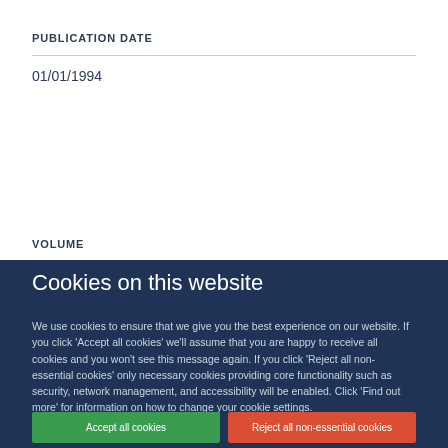PUBLICATION DATE
01/01/1994
VOLUME
Cookies on this website
We use cookies to ensure that we give you the best experience on our website. If you click 'Accept all cookies' we'll assume that you are happy to receive all cookies and you won't see this message again. If you click 'Reject all non-essential cookies' only necessary cookies providing core functionality such as security, network management, and accessibility will be enabled. Click 'Find out more' for information on how to change your cookie settings.
Accept all cookies
Reject all non-essential cookies